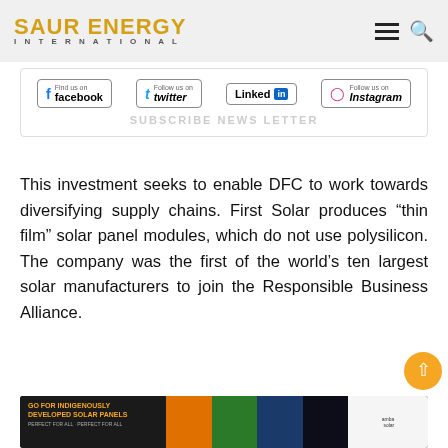SAUR ENERGY INTERNATIONAL
[Figure (screenshot): Social media follow buttons: Facebook, Twitter, LinkedIn, Instagram with subscribe newsletter text]
This investment seeks to enable DFC to work towards diversifying supply chains. First Solar produces “thin film” solar panel modules, which do not use polysilicon. The company was the first of the world’s ten largest solar manufacturers to join the Responsible Business Alliance.
[Figure (photo): Advertisement banner for indigenously developed solar panels]